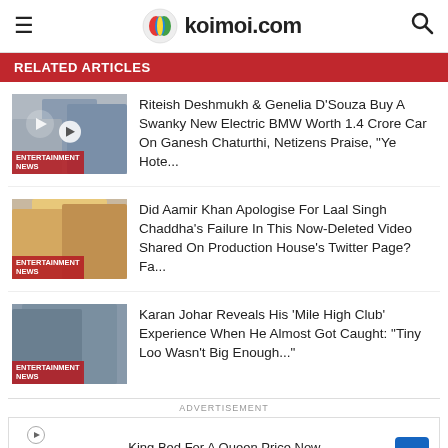koimoi.com
RELATED ARTICLES
[Figure (photo): Thumbnail of Riteish Deshmukh and Genelia D'Souza with play button overlay, labeled ENTERTAINMENT NEWS]
Riteish Deshmukh & Genelia D'Souza Buy A Swanky New Electric BMW Worth 1.4 Crore Car On Ganesh Chaturthi, Netizens Praise, “Ye Hote...
[Figure (photo): Thumbnail of Aamir Khan labeled ENTERTAINMENT NEWS]
Did Aamir Khan Apologise For Laal Singh Chaddha’s Failure In This Now-Deleted Video Shared On Production House’s Twitter Page? Fa...
[Figure (photo): Thumbnail of Karan Johar labeled ENTERTAINMENT NEWS]
Karan Johar Reveals His ‘Mile High Club’ Experience When He Almost Got Caught: “Tiny Loo Wasn’t Big Enough...”
ADVERTISEMENT
King Bed For A Queen Price Now
Mattress Firm Potomac Run Plaza